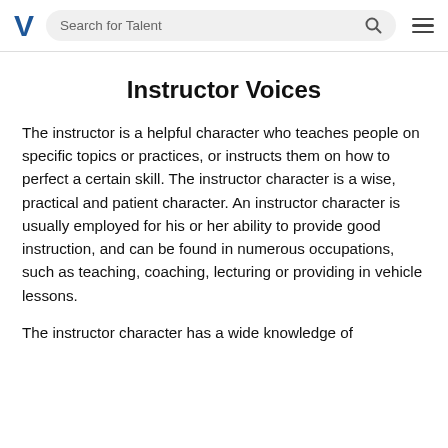Search for Talent
Instructor Voices
The instructor is a helpful character who teaches people on specific topics or practices, or instructs them on how to perfect a certain skill. The instructor character is a wise, practical and patient character. An instructor character is usually employed for his or her ability to provide good instruction, and can be found in numerous occupations, such as teaching, coaching, lecturing or providing in vehicle lessons.
The instructor character has a wide knowledge of